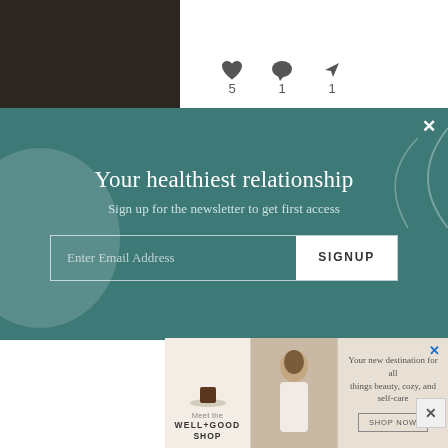[Figure (screenshot): Top portion of a webpage showing a dark photo thumbnail on left and social interaction icons (heart: 5, comment: 1, share: 1) on right]
[Figure (screenshot): Teal newsletter signup popup overlay with title 'Your healthiest relationship', subtitle 'Sign up for the newsletter to get first access', email input field and SIGNUP button]
1. Sleepiness is more about being tired and less about overall energy
If you're just feeling sleepy, nap time will be the solution to all your problems: when you're sleepy,
[Figure (screenshot): Advertisement banner for Well+Good Shop showing product image, woman photo, and text 'Your new destination for all things beauty, cozy, and self-care' with SHOP NOW button]